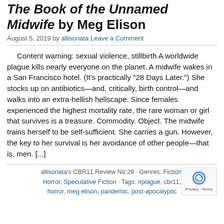The Book of the Unnamed Midwife by Meg Elison
August 5, 2019 by allisonata Leave a Comment
Content warning: sexual violence, stillbirth A worldwide plague kills nearly everyone on the planet. A midwife wakes in a San Francisco hotel. (It's practically "28 Days Later.") She stocks up on antibiotics—and, critically, birth control—and walks into an extra-hellish hellscape. Since females experienced the highest mortality rate, the rare woman or girl that survives is a treasure. Commodity. Object. The midwife trains herself to be self-sufficient. She carries a gun. However, the key to her survival is her avoidance of other people—that is, men. [...]
allisonata's CBR11 Review No:29 · Genres: Fiction, Horror, Speculative Fiction · Tags: #plague, cbr11, horror, meg elison, pandemic, post-apocalyptic